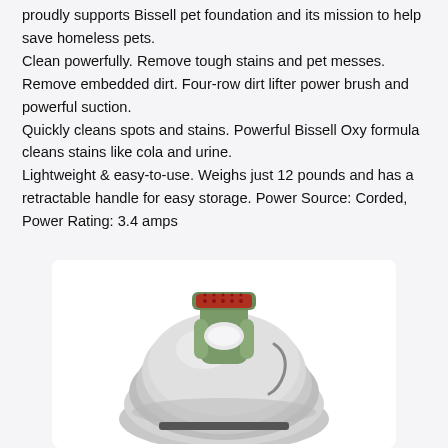proudly supports Bissell pet foundation and its mission to help save homeless pets. Clean powerfully. Remove tough stains and pet messes. Remove embedded dirt. Four-row dirt lifter power brush and powerful suction. Quickly cleans spots and stains. Powerful Bissell Oxy formula cleans stains like cola and urine. Lightweight & easy-to-use. Weighs just 12 pounds and has a retractable handle for easy storage. Power Source: Corded, Power Rating: 3.4 amps
[Figure (photo): Photo of a Bissell pet carpet cleaner / spot cleaner machine, olive green and silver colored, shown from above at an angle, with a red dot pattern on the top handle area.]